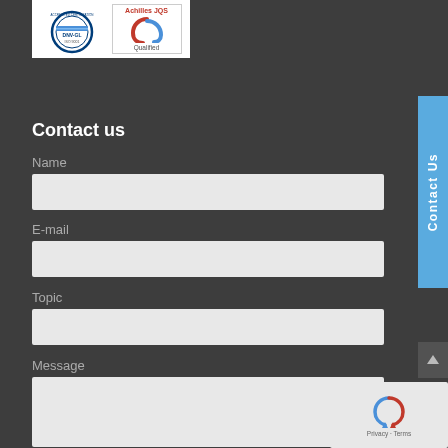[Figure (logo): DNV-GL ISO 9001 certification logo and Achilles JQS Qualified logo side by side on white background]
Contact us
Name
E-mail
Topic
Message
[Figure (other): Contact Us vertical side tab in blue]
[Figure (other): reCAPTCHA widget with privacy terms]